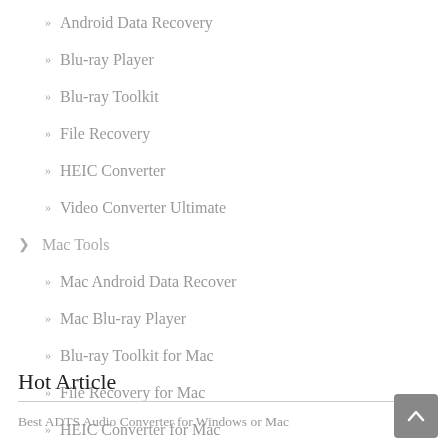Android Data Recovery
Blu-ray Player
Blu-ray Toolkit
File Recovery
HEIC Converter
Video Converter Ultimate
Mac Tools
Mac Android Data Recover
Mac Blu-ray Player
Blu-ray Toolkit for Mac
File Recovery for Mac
HEIC Converter for Mac
Video Converter Ultimate for Mac
Hot Article
Best ADTS Audio Converter for Windows or Mac